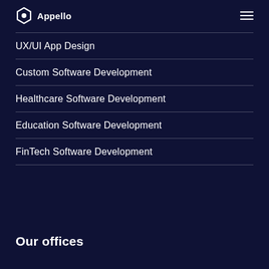Appello
UX/UI App Design
Custom Software Development
Healthcare Software Development
Education Software Development
FinTech Software Development
Our offices